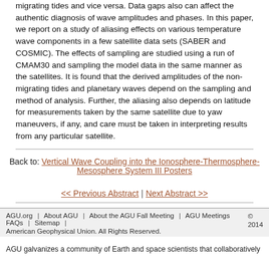migrating tides and vice versa. Data gaps also can affect the authentic diagnosis of wave amplitudes and phases. In this paper, we report on a study of aliasing effects on various temperature wave components in a few satellite data sets (SABER and COSMIC). The effects of sampling are studied using a run of CMAM30 and sampling the model data in the same manner as the satellites. It is found that the derived amplitudes of the non-migrating tides and planetary waves depend on the sampling and method of analysis. Further, the aliasing also depends on latitude for measurements taken by the same satellite due to yaw maneuvers, if any, and care must be taken in interpreting results from any particular satellite.
Back to: Vertical Wave Coupling into the Ionosphere-Thermosphere-Mesosphere System III Posters
<< Previous Abstract | Next Abstract >>
AGU.org | About AGU | About the AGU Fall Meeting | AGU Meetings FAQs | Sitemap | American Geophysical Union. All Rights Reserved. © 2014
AGU galvanizes a community of Earth and space scientists that collaboratively